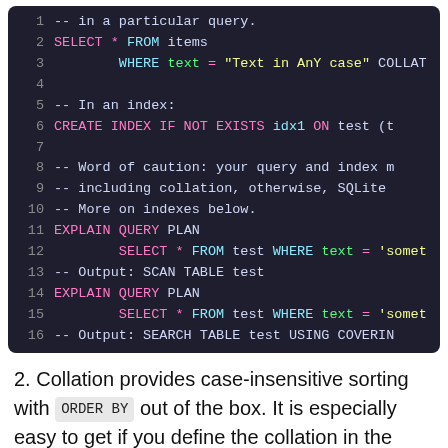[Figure (screenshot): Dark-themed code editor showing SQL code snippet with line numbers 1-16, featuring syntax highlighting in pink, cyan, and yellow on a dark background.]
2. Collation provides case-insensitive sorting with ORDER BY out of the box. It is especially easy to get if you define the collation in the table schema.